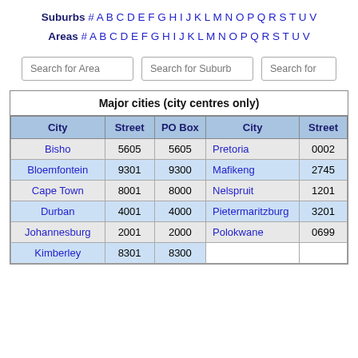Suburbs # A B C D E F G H I J K L M N O P Q R S T U V
Areas # A B C D E F G H I J K L M N O P Q R S T U V
| City | Street | PO Box | City | Street |
| --- | --- | --- | --- | --- |
| Bisho | 5605 | 5605 | Pretoria | 0002 |
| Bloemfontein | 9301 | 9300 | Mafikeng | 2745 |
| Cape Town | 8001 | 8000 | Nelspruit | 1201 |
| Durban | 4001 | 4000 | Pietermaritzburg | 3201 |
| Johannesburg | 2001 | 2000 | Polokwane | 0699 |
| Kimberley | 8301 | 8300 |  |  |